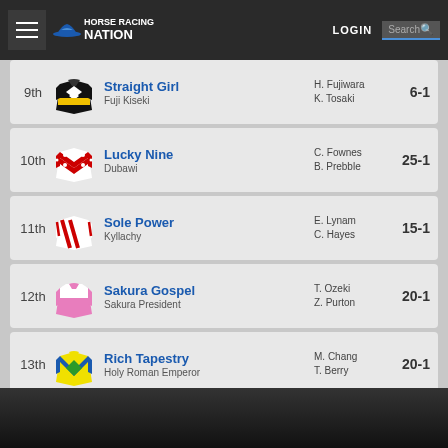Horse Racing Nation — LOGIN — Search
| Place | Silks | Horse/Trainer | Jockey | Odds |
| --- | --- | --- | --- | --- |
| 9th | [silks] | Straight Girl / Fuji Kiseki | H. Fujiwara / K. Tosaki | 6-1 |
| 10th | [silks] | Lucky Nine / Dubawi | C. Fownes / B. Prebble | 25-1 |
| 11th | [silks] | Sole Power / Kyllachy | E. Lynam / C. Hayes | 15-1 |
| 12th | [silks] | Sakura Gospel / Sakura President | T. Ozeki / Z. Purton | 20-1 |
| 13th | [silks] | Rich Tapestry / Holy Roman Emperor | M. Chang / T. Berry | 20-1 |
Horse Racing Nation Comment Policy
Please read our Comment Policy before commenting.